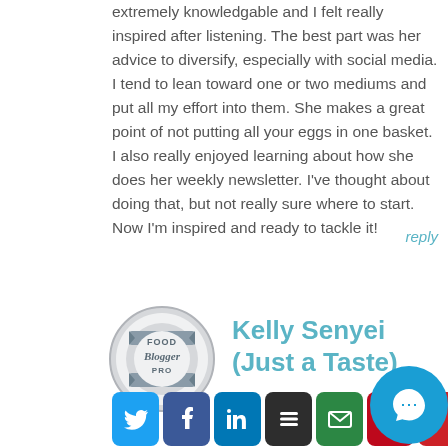extremely knowledgable and I felt really inspired after listening. The best part was her advice to diversify, especially with social media. I tend to lean toward one or two mediums and put all my effort into them. She makes a great point of not putting all your eggs in one basket. I also really enjoyed learning about how she does her weekly newsletter. I've thought about doing that, but not really sure where to start. Now I'm inspired and ready to tackle it!
reply
[Figure (logo): Food Blogger Pro circular badge logo]
Kelly Senyei (Just a Taste)
[Figure (infographic): Social media share buttons: Twitter, Facebook, LinkedIn, Buffer, Email, Pinterest, and a chat widget]